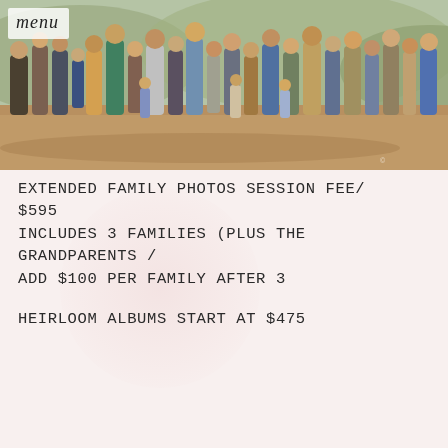[Figure (photo): Large extended family group photo, approximately 20+ people standing together outdoors on brown/dirt ground with desert scrub vegetation and hills in background. People of various ages from children to elderly grandparents.]
menu
Extended Family Photos Session fee/ $595
Includes 3 families (plus the grandparents /
Add $100 per family after 3
heirloom albums start at $475